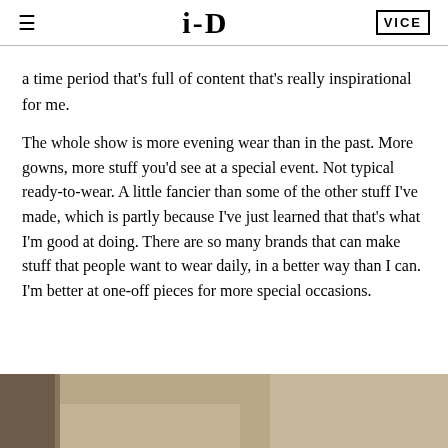≡  i-D  VICE
a time period that's full of content that's really inspirational for me.
The whole show is more evening wear than in the past. More gowns, more stuff you'd see at a special event. Not typical ready-to-wear. A little fancier than some of the other stuff I've made, which is partly because I've just learned that that's what I'm good at doing. There are so many brands that can make stuff that people want to wear daily, in a better way than I can. I'm better at one-off pieces for more special occasions.
[Figure (photo): Partial photo of a person, cropped at the bottom of the page, with a neutral/beige background.]